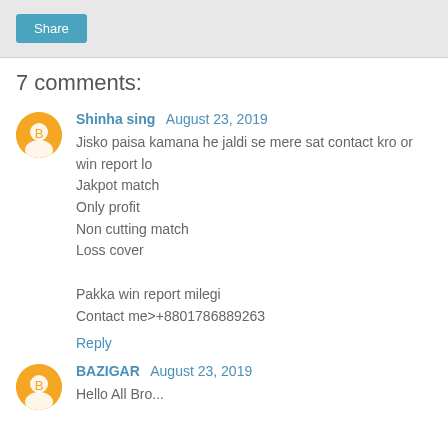Share
7 comments:
Shinha sing August 23, 2019
Jisko paisa kamana he jaldi se mere sat contact kro or win report lo
Jakpot match
Only profit
Non cutting match
Loss cover

Pakka win report milegi
Contact me>+8801786889263
Reply
BAZIGAR August 23, 2019
Hello All Bro...